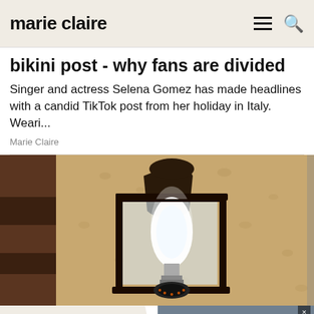marie claire
bikini post - why fans are divided
Singer and actress Selena Gomez has made headlines with a candid TikTok post from her holiday in Italy. Weari...
Marie Claire
[Figure (photo): Close-up photo of a wall-mounted black lantern light fixture with a bright white bulb visible through glass panels, mounted on a textured stucco wall]
[Figure (photo): Advertisement for L'Ermitage hotel - left side shows beige background with logo text 'L'ERMITAGE' and tagline 'Your Beverly Hills Hideaway Awaits', right side shows a pool area with lounge chairs and greenery, with a 'RESERVE' button]